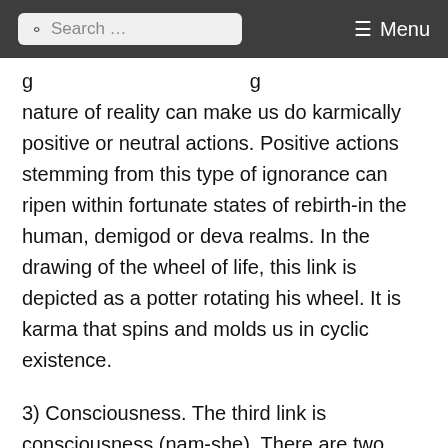Search ... Menu
g ... g nature of reality can make us do karmically positive or neutral actions. Positive actions stemming from this type of ignorance can ripen within fortunate states of rebirth-in the human, demigod or deva realms. In the drawing of the wheel of life, this link is depicted as a potter rotating his wheel. It is karma that spins and molds us in cyclic existence.
3) Consciousness. The third link is consciousness (nam-she). There are two kinds of consciousness-causal and resultant. Causal consciousness exists with the performance of a karmic action. As that action- good or bad-comes to an end, it leaves an imprint on our consciousness. The consciousness